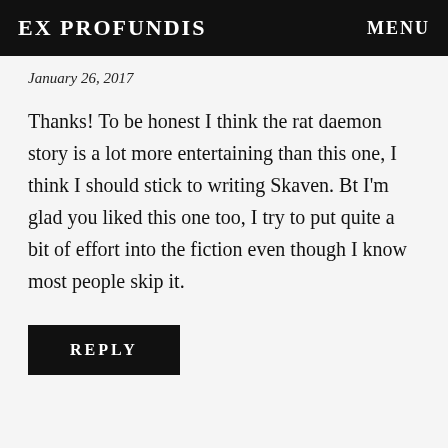EX PROFUNDIS   MENU
January 26, 2017
Thanks! To be honest I think the rat daemon story is a lot more entertaining than this one, I think I should stick to writing Skaven. Bt I'm glad you liked this one too, I try to put quite a bit of effort into the fiction even though I know most people skip it.
REPLY